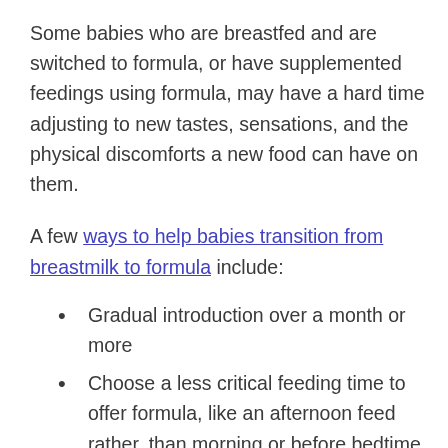Some babies who are breastfed and are switched to formula, or have supplemented feedings using formula, may have a hard time adjusting to new tastes, sensations, and the physical discomforts a new food can have on them.
A few ways to help babies transition from breastmilk to formula include:
Gradual introduction over a month or more
Choose a less critical feeding time to offer formula, like an afternoon feed rather, than morning or before bedtime
Attempt to recreate the sensation of